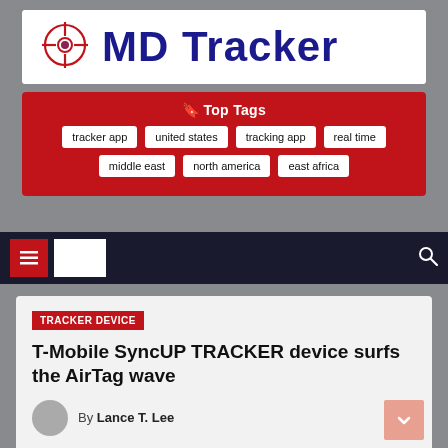[Figure (logo): MD Tracker logo: crosshair icon with pink/red center on left, bold dark blue 'MD Tracker' text on right, white background banner]
🔖 Top Tags
tracker app
united states
tracking app
real time
middle east
north america
east africa
Navigation bar with hamburger menu and search icon
TRACKER DEVICE
T-Mobile SyncUP TRACKER device surfs the AirTag wave
By Lance T. Lee